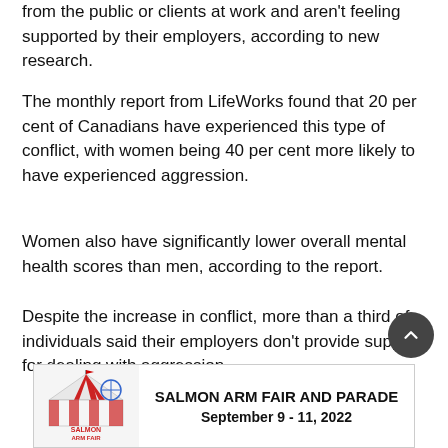from the public or clients at work and aren't feeling supported by their employers, according to new research.
The monthly report from LifeWorks found that 20 per cent of Canadians have experienced this type of conflict, with women being 40 per cent more likely to have experienced aggression.
Women also have significantly lower overall mental health scores than men, according to the report.
Despite the increase in conflict, more than a third of individuals said their employers don't provide support for dealing with aggression.
[Figure (other): Advertisement banner for Salmon Arm Fair and Parade, September 9-11, 2022, featuring the Salmon Arm Fair logo on the left side.]